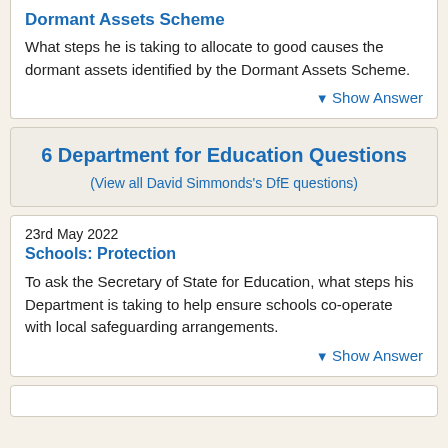Dormant Assets Scheme
What steps he is taking to allocate to good causes the dormant assets identified by the Dormant Assets Scheme.
▼ Show Answer
6 Department for Education Questions
(View all David Simmonds's DfE questions)
23rd May 2022
Schools: Protection
To ask the Secretary of State for Education, what steps his Department is taking to help ensure schools co-operate with local safeguarding arrangements.
▼ Show Answer